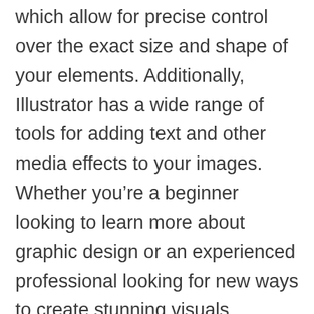which allow for precise control over the exact size and shape of your elements. Additionally, Illustrator has a wide range of tools for adding text and other media effects to your images. Whether you're a beginner looking to learn more about graphic design or an experienced professional looking for new ways to create stunning visuals, Illustrator is an essential toolkit.
Adobe Illustrator is an industry-leading vector graphic design application used to create logos, illustrations, and diagrams. It has an